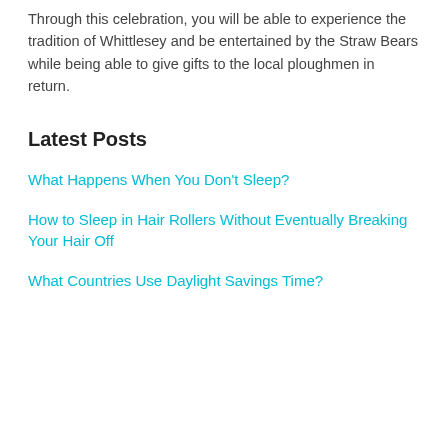Through this celebration, you will be able to experience the tradition of Whittlesey and be entertained by the Straw Bears while being able to give gifts to the local ploughmen in return.
Latest Posts
What Happens When You Don't Sleep?
How to Sleep in Hair Rollers Without Eventually Breaking Your Hair Off
What Countries Use Daylight Savings Time?